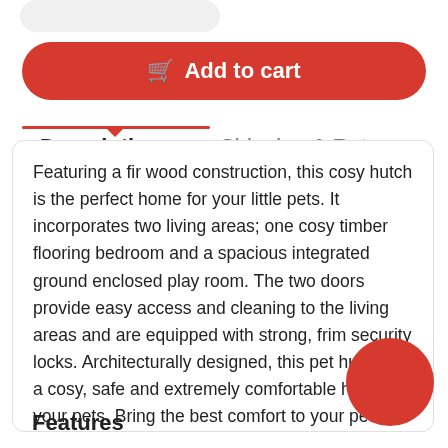[Figure (other): Partial UI element stub at top (gray rounded rectangle)]
Add to cart
Description   Shipping & Returns
Featuring a fir wood construction, this cosy hutch is the perfect home for your little pets. It incorporates two living areas; one cosy timber flooring bedroom and a spacious integrated ground enclosed play room. The two doors provide easy access and cleaning to the living areas and are equipped with strong, frim security locks. Architecturally designed, this pet hutch is a cosy, safe and extremely comfortable home for your pets. Bring the best comfort to your pet all year round. It's the five s home they deserve!
Features